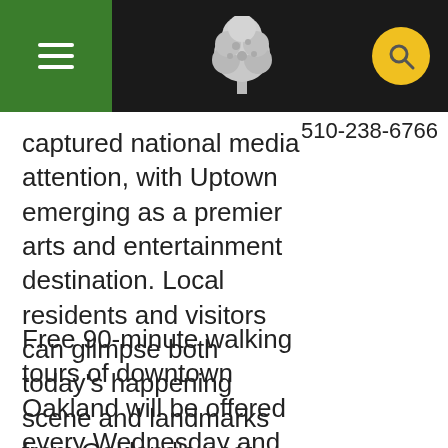510-238-6766
captured national media attention, with Uptown emerging as a premier arts and entertainment destination. Local residents and visitors can glimpse both today's happening scene and landmarks from Oakland's past during the 2018 Oakland Tours season.
Free 90-minute walking tours of downtown Oakland will be offered every Wednesday and Saturday from May to